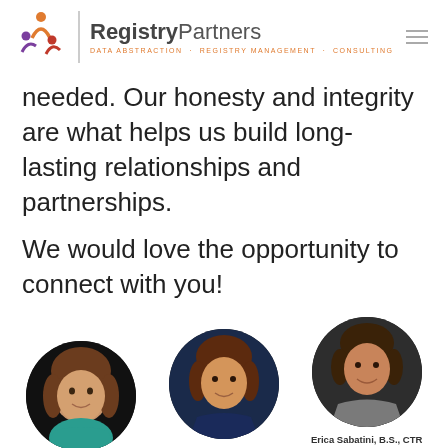RegistryPartners — DATA ABSTRACTION · REGISTRY MANAGEMENT · CONSULTING
needed. Our honesty and integrity are what helps us build long-lasting relationships and partnerships.
We would love the opportunity to connect with you!
[Figure (photo): Circular headshot of Carla Edwards, CTR]
Carla Edwards, CTR
[Figure (photo): Circular headshot of Courtney Jagneaux, RHIA, CTR]
Courtney Jagneaux, RHIA, CTR
[Figure (photo): Circular headshot of Erica Sabatini, B.S., CTR]
Erica Sabatini, B.S., CTR
Specializes in Education & Mentoring